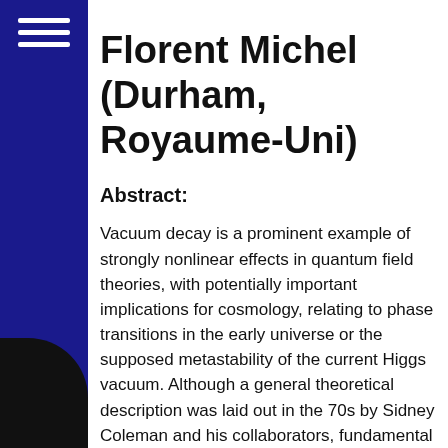Florent Michel (Durham, Royaume-Uni)
Abstract:
Vacuum decay is a prominent example of strongly nonlinear effects in quantum field theories, with potentially important implications for cosmology, relating to phase transitions in the early universe or the supposed metastability of the current Higgs vacuum. Although a general theoretical description was laid out in the 70s by Sidney Coleman and his collaborators, fundamental questions pertaining to the back-reaction of true vacuum bubbles on space-time curvature and their correlations remain so far unanswered, calling for different approaches to the problem. In this talk, after a brief review of Coleman's theory emphasizing its genericness and limitations, I will present a recently-proposed